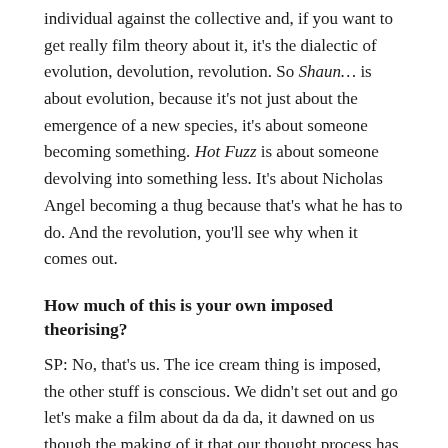individual against the collective and, if you want to get really film theory about it, it's the dialectic of evolution, devolution, revolution. So Shaun… is about evolution, because it's not just about the emergence of a new species, it's about someone becoming something. Hot Fuzz is about someone devolving into something less. It's about Nicholas Angel becoming a thug because that's what he has to do. And the revolution, you'll see why when it comes out.
How much of this is your own imposed theorising?
SP: No, that's us. The ice cream thing is imposed, the other stuff is conscious. We didn't set out and go let's make a film about da da da, it dawned on us though the making of it that our thought process has taken that kind of… that's our journey with the film. And it is about our lives in a way. Shaun… was about growing up. Hot Fuzz we were feeling like we were being forced to be more mature, and with World's End the idea was about becoming middle-aged and fighting that. So as a film student I can analyse my own work to